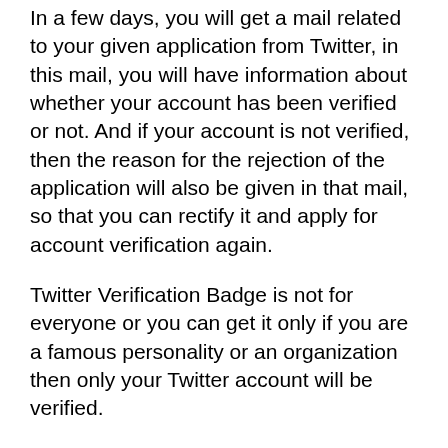In a few days, you will get a mail related to your given application from Twitter, in this mail, you will have information about whether your account has been verified or not. And if your account is not verified, then the reason for the rejection of the application will also be given in that mail, so that you can rectify it and apply for account verification again.
Twitter Verification Badge is not for everyone or you can get it only if you are a famous personality or an organization then only your Twitter account will be verified.
What to do before doing Twitter verification? Know these important things-
If you also want to verify your Twitter account,